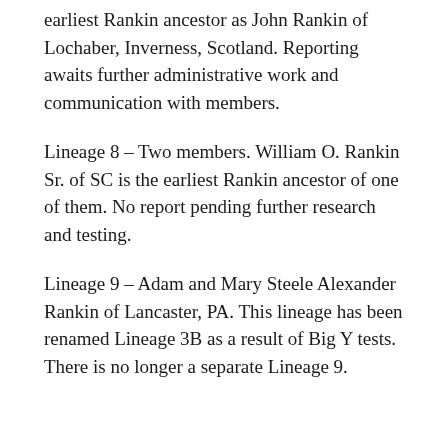earliest Rankin ancestor as John Rankin of Lochaber, Inverness, Scotland. Reporting awaits further administrative work and communication with members.
Lineage 8 – Two members. William O. Rankin Sr. of SC is the earliest Rankin ancestor of one of them. No report pending further research and testing.
Lineage 9 – Adam and Mary Steele Alexander Rankin of Lancaster, PA. This lineage has been renamed Lineage 3B as a result of Big Y tests. There is no longer a separate Lineage 9.